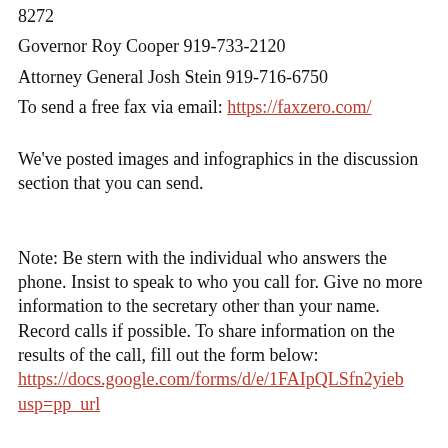8272
Governor Roy Cooper 919-733-2120
Attorney General Josh Stein 919-716-6750
To send a free fax via email: https://faxzero.com/
We've posted images and infographics in the discussion section that you can send.
Note: Be stern with the individual who answers the phone. Insist to speak to who you call for. Give no more information to the secretary other than your name. Record calls if possible. To share information on the results of the call, fill out the form below: https://docs.google.com/forms/d/e/1FAIpQLSfn2yieb usp=pp_url